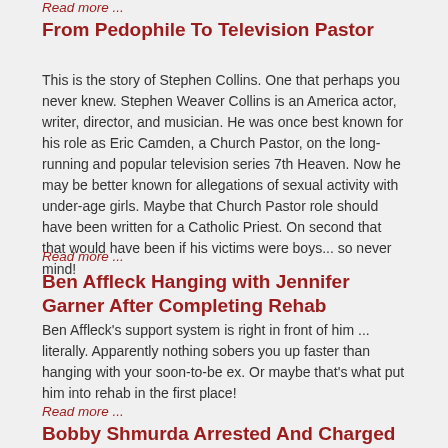Read more ...
From Pedophile To Television Pastor
This is the story of Stephen Collins. One that perhaps you never knew. Stephen Weaver Collins is an America actor, writer, director, and musician. He was once best known for his role as Eric Camden, a Church Pastor, on the long-running and popular television series 7th Heaven. Now he may be better known for allegations of sexual activity with under-age girls. Maybe that Church Pastor role should have been written for a Catholic Priest. On second that that would have been if his victims were boys... so never mind!
Read more ...
Ben Affleck Hanging with Jennifer Garner After Completing Rehab
Ben Affleck's support system is right in front of him ... literally. Apparently nothing sobers you up faster than hanging with your soon-to-be ex. Or maybe that's what put him into rehab in the first place!
Read more ...
Bobby Shmurda Arrested And Charged With Conspiracy To Commit Murder (UPDATED)